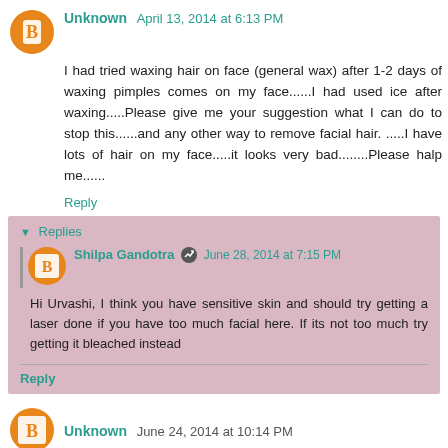Unknown April 13, 2014 at 6:13 PM
I had tried waxing hair on face (general wax) after 1-2 days of waxing pimples comes on my face......I had used ice after waxing.....Please give me your suggestion what I can do to stop this......and any other way to remove facial hair. .....I have lots of hair on my face.....it looks very bad........Please halp me......
Reply
Replies
Shilpa Gandotra June 28, 2014 at 7:15 PM
Hi Urvashi, I think you have sensitive skin and should try getting a laser done if you have too much facial here. If its not too much try getting it bleached instead
Reply
Unknown June 24, 2014 at 10:14 PM